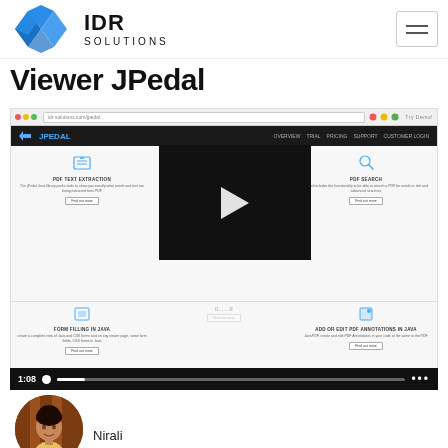[Figure (logo): IDR Solutions logo with geometric blue/grey diamond shapes and text IDR SOLUTIONS]
Viewer JPedal
[Figure (screenshot): Screenshot of IDR Solutions JPedal website showing PDF features including PDF Text Extraction, PDF Image Extraction, PDF Search, Form Filling in Java, and Add or Edit PDF Annotations in Java. A video player overlay is shown in center. Below is a call-to-action section for free JPedal trial with email input. Video progress bar shows 1:08 timestamp.]
[Figure (photo): Circular profile photo of a woman named Nirali]
Nirali